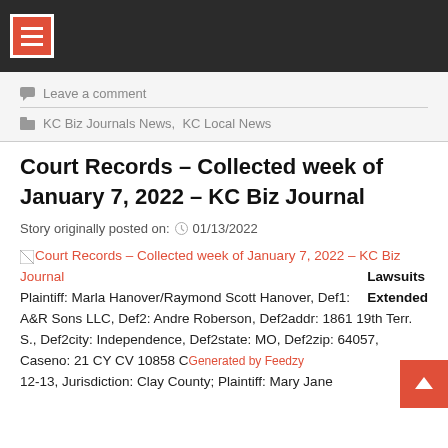Navigation bar with menu icon
Leave a comment
KC Biz Journals News, KC Local News
Court Records – Collected week of January 7, 2022 – KC Biz Journal
Story originally posted on: 01/13/2022
Court Records – Collected week of January 7, 2022 – KC Biz Journal   Lawsuits Extended  Plaintiff: Marla Hanover/Raymond Scott Hanover, Def1: A&R Sons LLC, Def2: Andre Roberson, Def2addr: 1861 19th Terr. S., Def2city: Independence, Def2state: MO, Def2zip: 64057, Caseno: 21 CY CV 10858 CC, Reedate: 2021-12-13, Jurisdiction: Clay County; Plaintiff: Mary Jane